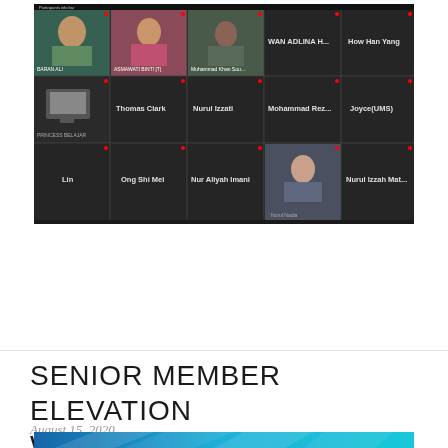[Figure (screenshot): Zoom video conference screenshot showing multiple participants in a grid view. Participants include: WAN ADLINA H., How Han Yang, Thomas Clark, Nurul Izzati, Mohammad Rez..., Joyce(UMS), Lin, Ong Shi Mei, Nur Aliyah Imani, Nurul Nadia, Nurul Izzah Mat... Some participants have video enabled showing faces, others show name placeholders on dark backgrounds.]
SENIOR MEMBER ELEVATION WORKSHOP
August 15, 2020
[Figure (illustration): Bottom banner with blue gradient geometric pattern]